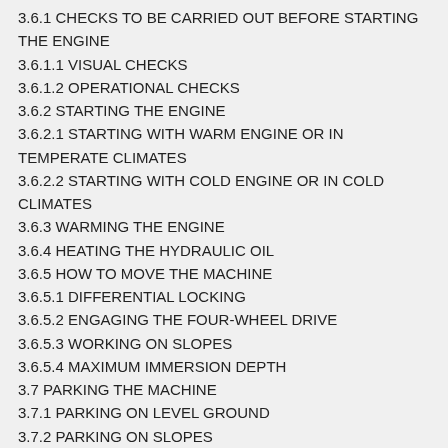3.6.1 CHECKS TO BE CARRIED OUT BEFORE STARTING THE ENGINE
3.6.1.1 VISUAL CHECKS
3.6.1.2 OPERATIONAL CHECKS
3.6.2 STARTING THE ENGINE
3.6.2.1 STARTING WITH WARM ENGINE OR IN TEMPERATE CLIMATES
3.6.2.2 STARTING WITH COLD ENGINE OR IN COLD CLIMATES
3.6.3 WARMING THE ENGINE
3.6.4 HEATING THE HYDRAULIC OIL
3.6.5 HOW TO MOVE THE MACHINE
3.6.5.1 DIFFERENTIAL LOCKING
3.6.5.2 ENGAGING THE FOUR-WHEEL DRIVE
3.6.5.3 WORKING ON SLOPES
3.6.5.4 MAXIMUM IMMERSION DEPTH
3.7 PARKING THE MACHINE
3.7.1 PARKING ON LEVEL GROUND
3.7.2 PARKING ON SLOPES